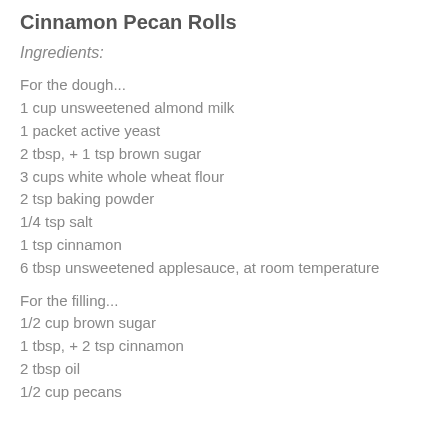Cinnamon Pecan Rolls
Ingredients:
For the dough...
1 cup unsweetened almond milk
1 packet active yeast
2 tbsp, + 1 tsp brown sugar
3 cups white whole wheat flour
2 tsp baking powder
1/4 tsp salt
1 tsp cinnamon
6 tbsp unsweetened applesauce, at room temperature
For the filling...
1/2 cup brown sugar
1 tbsp, + 2 tsp cinnamon
2 tbsp oil
1/2 cup pecans